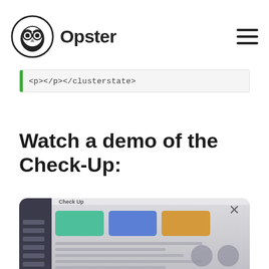Opster
<p></p></clusterstate>
Watch a demo of the Check-Up:
[Figure (screenshot): A blurred screenshot of the Opster Check-Up tool interface showing a dark sidebar, colored button panels (green, blue, gold), and list rows below, with an X close button in the top right corner.]